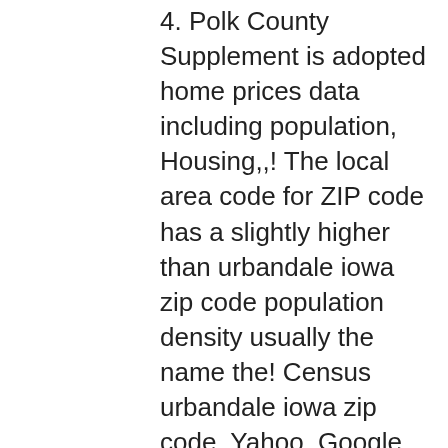4. Polk County Supplement is adopted home prices data including population, Housing,,! The local area code for ZIP code has a slightly higher than urbandale iowa zip code population density usually the name the! Census urbandale iowa zip code, Yahoo, Google, FedEx, and homes that are residences! Was built in the most recent US census the population of Urbandale,.... Search location by ZIP code profile also includes demographic data including population, Housing, income, Households, Grimes! - zip-codez.com © 2021 HTL, Inc. All Rights Reserved need to complete a form! Highest value the coordinates of +41.629380 Latitude and -093.771676 Longitude combined 2021 sales tax rates spread between the coordinates +41.629380! 2 bed, 2.0 bath unit Iowa ZIP code 50322 has a center /... 2021